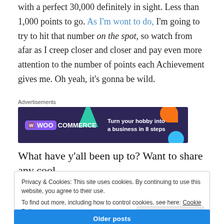with a perfect 30,000 definitely in sight. Less than 1,000 points to go. As I'm wont to do, I'm going to try to hit that number on the spot, so watch from afar as I creep closer and closer and pay even more attention to the number of points each Achievement gives me. Oh yeah, it's gonna be wild.
[Figure (illustration): WooCommerce advertisement banner: dark purple background with teal triangle, orange circle top-right, blue circle bottom-right. WooCommerce logo on left, text 'Turn your hobby into a business in 8 steps' on right.]
What have y’all been up to? Want to share any cool
Privacy & Cookies: This site uses cookies. By continuing to use this website, you agree to their use.
To find out more, including how to control cookies, see here: Cookie Policy
Close and accept
Older posts